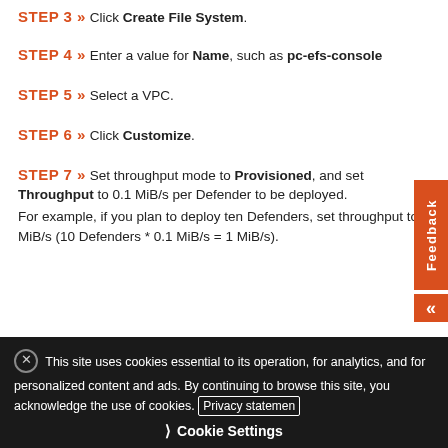STEP 3 » Click Create File System.
STEP 4 » Enter a value for Name, such as pc-efs-console
STEP 5 » Select a VPC.
STEP 6 » Click Customize.
STEP 7 » Set throughput mode to Provisioned, and set Throughput to 0.1 MiB/s per Defender to be deployed.
For example, if you plan to deploy ten Defenders, set throughput to 1 MiB/s (10 Defenders * 0.1 MiB/s = 1 MiB/s).
This site uses cookies essential to its operation, for analytics, and for personalized content and ads. By continuing to browse this site, you acknowledge the use of cookies. Privacy statement
Cookie Settings